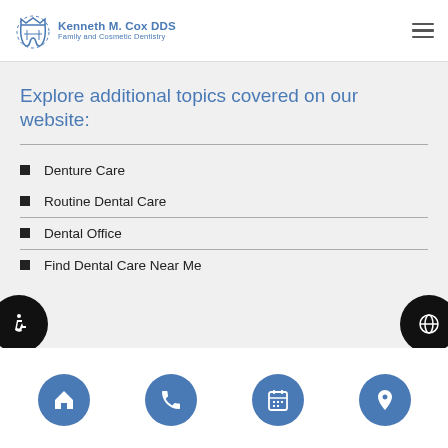Kenneth M. Cox DDS Family and Cosmetic Dentistry
Explore additional topics covered on our website:
Denture Care
Routine Dental Care
Dental Office
Find Dental Care Near Me